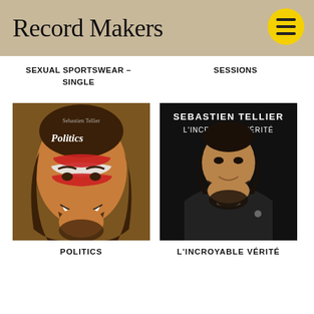Record Makers
SEXUAL SPORTSWEAR – SINGLE
SESSIONS
[Figure (photo): Album cover for 'Politics' by Sebastien Tellier: smiling man with long dark hair and face paint (red and white stripes across nose), word 'Politics' visible]
POLITICS
[Figure (photo): Album cover for 'L'Incroyable Vérité' by Sebastien Tellier: man in dark suit against black background, text 'SEBASTIEN TELLIER L'INCROYABLE VÉRITÉ' at top]
L'INCROYABLE VÉRITÉ